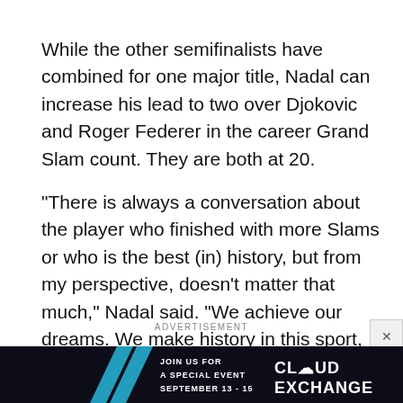While the other semifinalists have combined for one major title, Nadal can increase his lead to two over Djokovic and Roger Federer in the career Grand Slam count. They are both at 20.
“There is always a conversation about the player who finished with more Slams or who is the best (in) history, but from my perspective, doesn’t matter that much,” Nadal said. “We achieve our dreams. We make history in this sport, because we did things that didn’t happen before.”
ADVERTISEMENT
[Figure (infographic): Advertisement banner for Cloud Exchange event: JOIN US FOR A SPECIAL EVENT SEPTEMBER 13 - 15, with Cloud Exchange logo on dark background with blue slash graphic]